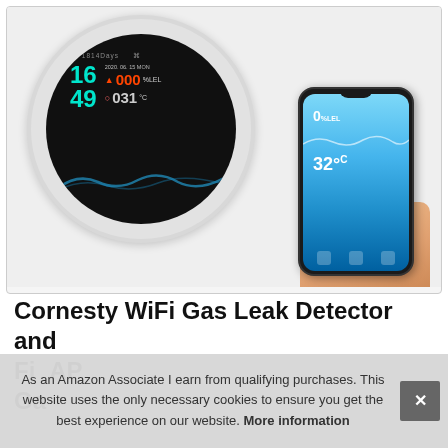[Figure (photo): A circular WiFi gas leak detector device with a black display showing time 16:49, date 2020.06.15 MON, gas reading 000 %LEL, temperature 031°C, and a uptime of 1814 Days. A hand holds a smartphone showing the companion app with gas and temperature readings on a blue gradient screen.]
Cornesty WiFi Gas Leak Detector and Fire... AP... Ga...
As an Amazon Associate I earn from qualifying purchases. This website uses the only necessary cookies to ensure you get the best experience on our website. More information